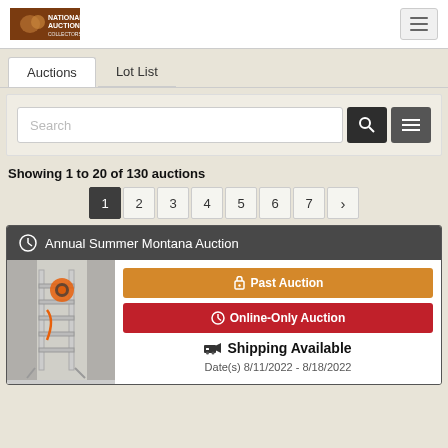National Auction
Auctions | Lot List
[Figure (screenshot): Search bar with search button and filter button]
Showing 1 to 20 of 130 auctions
Pagination: 1 2 3 4 5 6 7 >
Annual Summer Montana Auction
[Figure (photo): Photo of a ladder mounted on a wall with orange equipment]
Past Auction
Online-Only Auction
Shipping Available
Date(s) 8/11/2022 - 8/18/2022